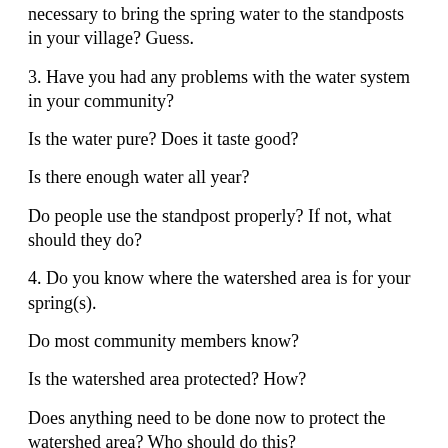necessary to bring the spring water to the standposts in your village? Guess.
3. Have you had any problems with the water system in your community?
Is the water pure? Does it taste good?
Is there enough water all year?
Do people use the standpost properly? If not, what should they do?
4. Do you know where the watershed area is for your spring(s).
Do most community members know?
Is the watershed area protected? How?
Does anything need to be done now to protect the watershed area? Who should do this?
5. Did the people in your community make contributions of money, materials and/or labour for the construction of your water supply system?